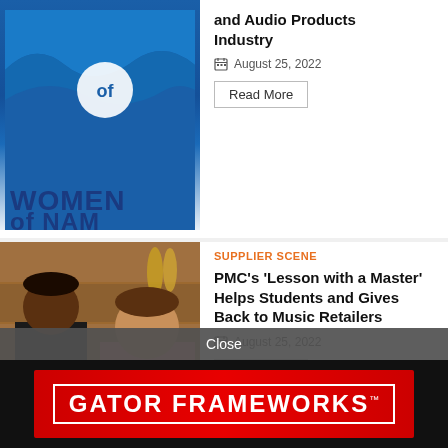[Figure (logo): Women of NAMM logo — blue wave design with text 'WOMEN of NAM' partially visible]
and Audio Products Industry
August 25, 2022
Read More
[Figure (photo): Two people standing in a music store — a young man in a black Friends t-shirt holding a PMC award certificate and a woman in a floral top, with saxophones visible on the wall behind them]
SUPPLIER SCENE
PMC’s ‘Lesson with a Master’ Helps Students and Gives Back to Music Retailers
August 25, 2022
Read More
Close
[Figure (logo): Gator Frameworks logo — white text on red banner background]